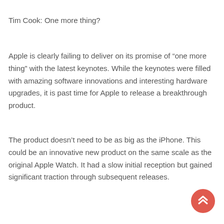Tim Cook: One more thing?
Apple is clearly failing to deliver on its promise of “one more thing” with the latest keynotes. While the keynotes were filled with amazing software innovations and interesting hardware upgrades, it is past time for Apple to release a breakthrough product.
The product doesn’t need to be as big as the iPhone. This could be an innovative new product on the same scale as the original Apple Watch. It had a slow initial reception but gained significant traction through subsequent releases.